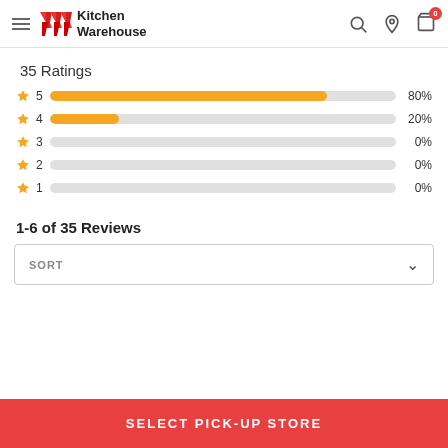Kitchen Warehouse
35 Ratings
[Figure (bar-chart): Ratings Distribution]
1-6 of 35 Reviews
SORT
SELECT PICK-UP STORE